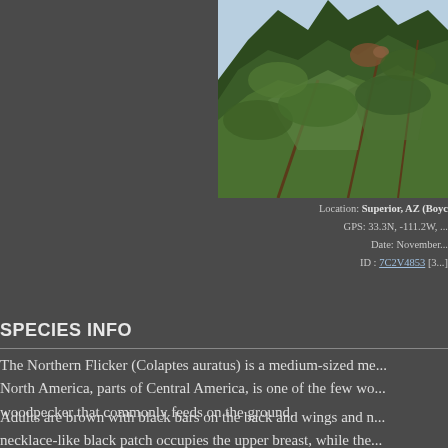[Figure (photo): Photograph of a Northern Flicker bird perched in a conifer tree (partially cropped, upper right portion of page), showing green foliage against a blue sky]
Location: Superior, AZ (Boyc...) GPS: 33.3N, -111.2W, ... Date: November ... ID : 7C2V4853 [3...]
SPECIES INFO
The Northern Flicker (Colaptes auratus) is a medium-sized me... North America, parts of Central America, is one of the few wo... woodpecker that commonly feeds on the ground.
Adults are brown with black bars on the back and wings and n... necklace-like black patch occupies the upper breast, while the... can be identified by a black or red moustachial stripe at the ba... white rump which is conspicuous in flight.